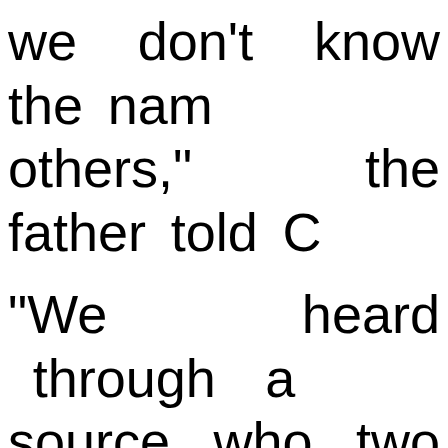we don't know the names of the others," the father told C
"We heard through a source who two of the p and neither one of the son. There are two p supposedly have n identified."